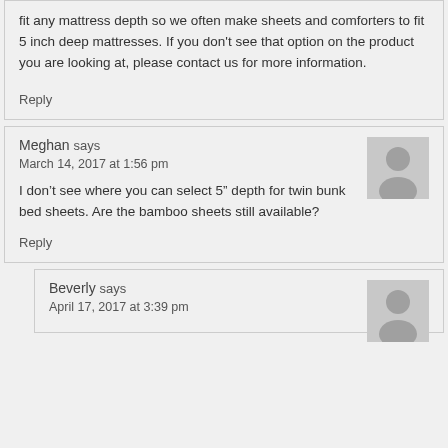fit any mattress depth so we often make sheets and comforters to fit 5 inch deep mattresses. If you don't see that option on the product you are looking at, please contact us for more information.
Reply
Meghan says
March 14, 2017 at 1:56 pm
I don't see where you can select 5" depth for twin bunk bed sheets. Are the bamboo sheets still available?
Reply
Beverly says
April 17, 2017 at 3:39 pm